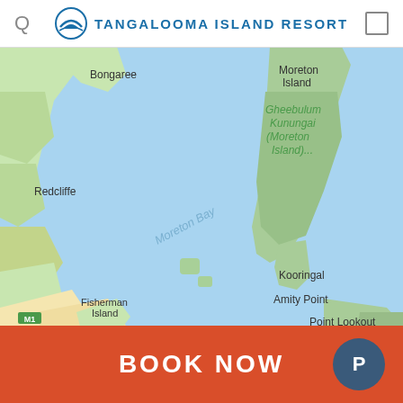TANGALOOMA ISLAND RESORT
[Figure (map): Google Maps-style map showing Moreton Bay area with Moreton Island, Gheebulum Kunungai (Moreton Island)..., Bongaree, Redcliffe, Fisherman Island, Kooringal, Amity Point, Point Lookout labeled. Blue water (Moreton Bay) with green land masses. Road network visible in lower left corner with M1 and M4 motorway markers.]
BOOK NOW